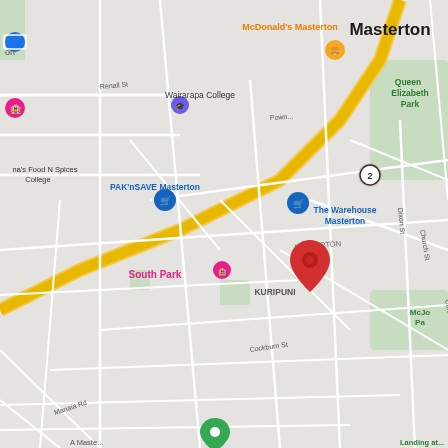[Figure (map): Google Maps street map of Masterton, New Zealand, showing the Kuripuni area. Features labeled streets including Renall St, Dixon St, Church St, Colombo Rd, Johnstone St, Te Whiti Rd, Cockburn St, Manaia Rd. Points of interest include Masterton (city label), McDonald's Masterton, Wairarapa College, PAK'nSAVE Masterton, The Warehouse Masterton, Queen Elizabeth Park, South Park, McJo Pa (McJordan Park). A red location pin is placed in the Kuripuni area. Yellow highway routes visible. Blue shopping cart markers for grocery stores.]